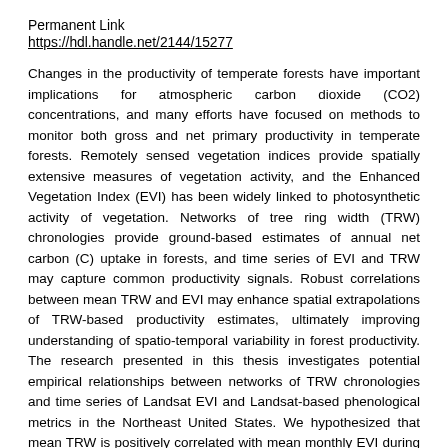Permanent Link
https://hdl.handle.net/2144/15277
Changes in the productivity of temperate forests have important implications for atmospheric carbon dioxide (CO2) concentrations, and many efforts have focused on methods to monitor both gross and net primary productivity in temperate forests. Remotely sensed vegetation indices provide spatially extensive measures of vegetation activity, and the Enhanced Vegetation Index (EVI) has been widely linked to photosynthetic activity of vegetation. Networks of tree ring width (TRW) chronologies provide ground-based estimates of annual net carbon (C) uptake in forests, and time series of EVI and TRW may capture common productivity signals. Robust correlations between mean TRW and EVI may enhance spatial extrapolations of TRW-based productivity estimates, ultimately improving understanding of spatio-temporal variability in forest productivity. The research presented in this thesis investigates potential empirical relationships between networks of TRW chronologies and time series of Landsat EVI and Landsat-based phenological metrics in the Northeast United States. We hypothesized that mean TRW is positively correlated with mean monthly EVI during the growing season, EVI integrated